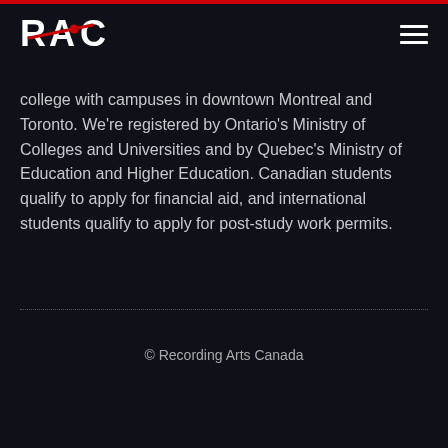[Figure (logo): RAC logo with red diagonal line and red circle]
college with campuses in downtown Montreal and Toronto. We're registered by Ontario's Ministry of Colleges and Universities and by Quebec's Ministry of Education and Higher Education. Canadian students qualify to apply for financial aid, and international students qualify to apply for post-study work permits.
© Recording Arts Canada